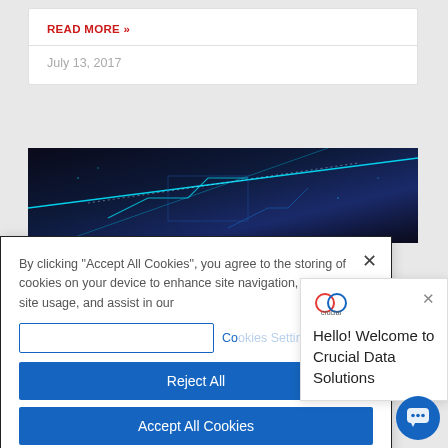READ MORE »
July 13, 2017
[Figure (photo): Dark blue technology background with glowing circuit board patterns and diagonal light streaks]
By clicking "Accept All Cookies", you agree to the storing of cookies on your device to enhance site navigation, analyze site usage, and assist in our marketing efforts.
Co... (Cookies Settings link)
Reject All
Accept All Cookies
[Figure (logo): Crucial Data Solutions logo with circular icon]
Hello! Welcome to Crucial Data Solutions